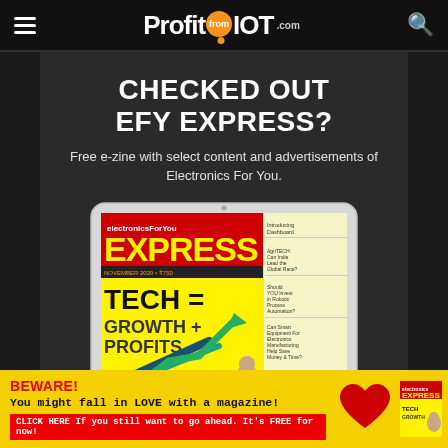ProfitfromIOT.com
CHECKED OUT EFY EXPRESS?
Free e-zine with select content and advertisements of Electronics For You.
[Figure (illustration): Tablet displaying Electronics For You EXPRESS magazine cover with headline TECH = GROWTH + PROFITS and green upward arrow chart]
[Figure (infographic): Yellow advertisement banner: BEWARE! You might fall in LOVE with a magazine! CLICK HERE if you still want to go ahead. It's FREE for now! with red heart and Express magazine cover images.]